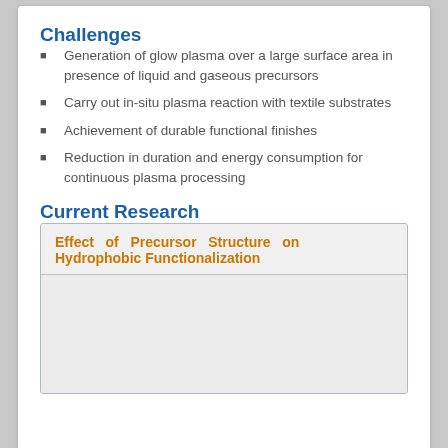Challenges
Generation of glow plasma over a large surface area in presence of liquid and gaseous precursors
Carry out in-situ plasma reaction with textile substrates
Achievement of durable functional finishes
Reduction in duration and energy consumption for continuous plasma processing
Current Research
Effect of Precursor Structure on Hydrophobic Functionalization